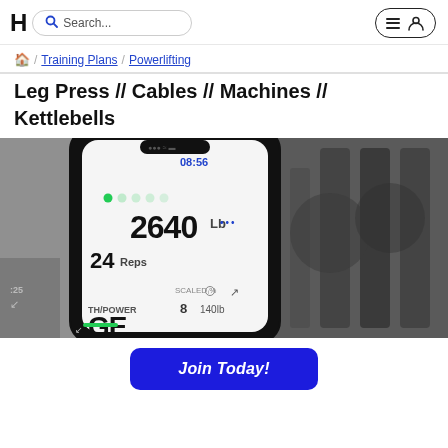H [logo] Search... [hamburger menu] [user icon]
Training Plans / Powerlifting
Leg Press // Cables // Machines // Kettlebells
[Figure (photo): A smartphone displayed at an angle showing a fitness app with '2640 Lb', '24 Reps', 'SCALED %', '140lb' on screen, against a blurred dumbbell rack background in black and white.]
Join Today!